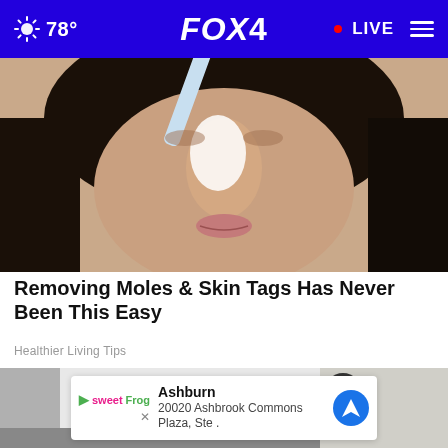78° FOX 4 • LIVE
[Figure (photo): Close-up of a woman applying white cream to her nose with a toothbrush]
Removing Moles & Skin Tags Has Never Been This Easy
Healthier Living Tips
[Figure (photo): Person in white outfit with an advertisement overlay for sweetFrog at 20020 Ashbrook Commons Plaza, Ste., Ashburn, with a close button (x)]